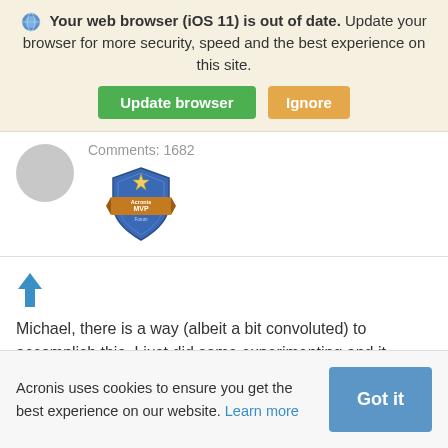Your web browser (iOS 11) is out of date. Update your browser for more security, speed and the best experience on this site.
[Figure (screenshot): Browser update banner with 'Update browser' green button and 'Ignore' tan button]
Comments: 1682
[Figure (logo): Acronis MVP Forum badge — blue shield with orange banner reading 'Acronis MVP Forum']
[Figure (other): Blue upward-pointing arrow (upvote icon)]
Michael, there is a way (albeit a bit convoluted) to accomplish this. I just did some experimenting and it seems to work.
Acronis uses cookies to ensure you get the best experience on our website. Learn more